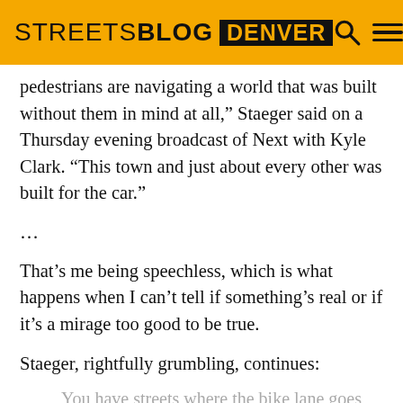STREETSBLOG DENVER
pedestrians are navigating a world that was built without them in mind at all,” Staeger said on a Thursday evening broadcast of Next with Kyle Clark. “This town and just about every other was built for the car.”
…
That’s me being speechless, which is what happens when I can’t tell if something’s real or if it’s a mirage too good to be true.
Staeger, rightfully grumbling, continues:
You have streets where the bike lane goes f— a block and then ends, others where there’s no